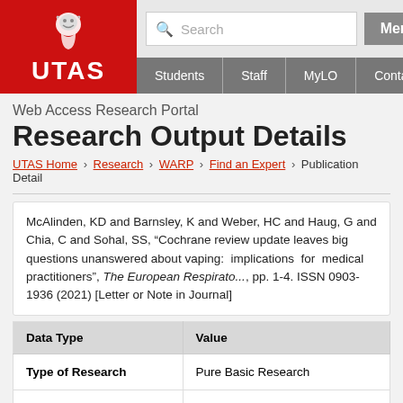[Figure (logo): UTAS University of Tasmania logo with lion crest on red background]
Web Access Research Portal | Students | Staff | MyLO | Contacts | Menu | Search
Web Access Research Portal
Research Output Details
UTAS Home > Research > WARP > Find an Expert > Publication Detail
McAlinden, KD and Barnsley, K and Weber, HC and Haug, G and Chia, C and Sohal, SS, "Cochrane review update leaves big questions unanswered about vaping: implications for medical practitioners", The European Respiratory ..., pp. 1-4. ISSN 0903-1936 (2021) [Letter or Note in Journal]
| Data Type | Value |
| --- | --- |
| Type of Research | Pure Basic Research |
| Research Division | Biomedical and Clinical Sciences |
| Research Group | Cardiovascular medicine and haem... |